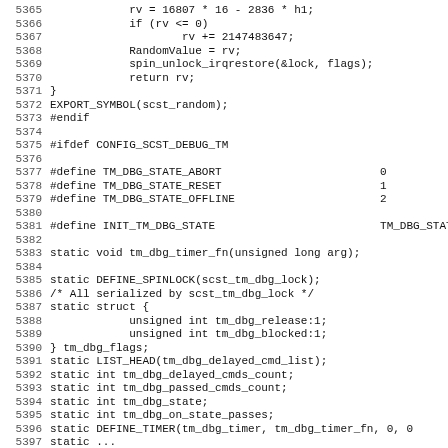Source code listing, lines 5365–5396+, showing C code with random value generation, CONFIG_SCST_DEBUG_TM ifdef block, define macros for debug states, and static declarations for debug spinlock, struct, and timer functions.